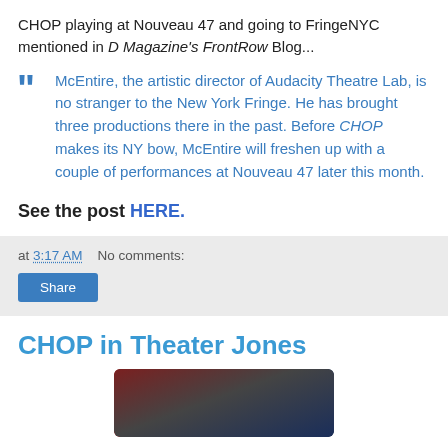CHOP playing at Nouveau 47 and going to FringeNYC mentioned in D Magazine's FrontRow Blog...
McEntire, the artistic director of Audacity Theatre Lab, is no stranger to the New York Fringe. He has brought three productions there in the past. Before CHOP makes its NY bow, McEntire will freshen up with a couple of performances at Nouveau 47 later this month.
See the post HERE.
at 3:17 AM   No comments:
CHOP in Theater Jones
[Figure (photo): Photo of a person against a dark red and blue background]